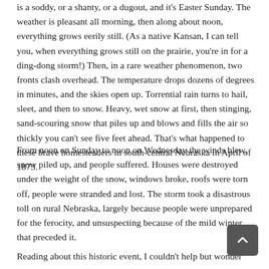is a soddy, or a shanty, or a dugout, and it's Easter Sunday. The weather is pleasant all morning, then along about noon, everything grows eerily still. (As a native Kansan, I can tell you, when everything grows still on the prairie, you're in for a ding-dong storm!) Then, in a rare weather phenomenon, two fronts clash overhead. The temperature drops dozens of degrees in minutes, and the skies open up. Torrential rain turns to hail, sleet, and then to snow. Heavy, wet snow at first, then stinging, sand-scouring snow that piles up and blows and fills the air so thickly you can't see five feet ahead. That's what happened to these brave homesteaders in south-central Nebraska in April of 1873.
From noon on Sunday to noon on Wednesday the winds blew, snow piled up, and people suffered. Houses were destroyed under the weight of the snow, windows broke, roofs were torn off, people were stranded and lost. The storm took a disastrous toll on rural Nebraska, largely because people were unprepared for the ferocity, and unsuspecting because of the mild winter that preceded it.
Reading about this historic event, I couldn't help but wonder